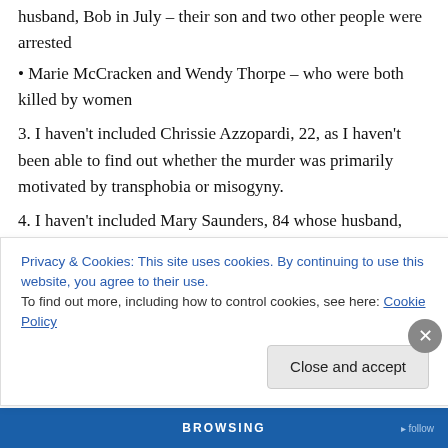husband, Bob in July – their son and two other people were arrested
• Marie McCracken and Wendy Thorpe – who were both killed by women
3. I haven't included Chrissie Azzopardi, 22, as I haven't been able to find out whether the murder was primarily motivated by transphobia or misogyny.
4. I haven't included Mary Saunders, 84 whose husband, aged 94 was arrested, as the police are pursuing a ‘mercy crime’ as one line of enquiry
Privacy & Cookies: This site uses cookies. By continuing to use this website, you agree to their use.
To find out more, including how to control cookies, see here: Cookie Policy
Close and accept